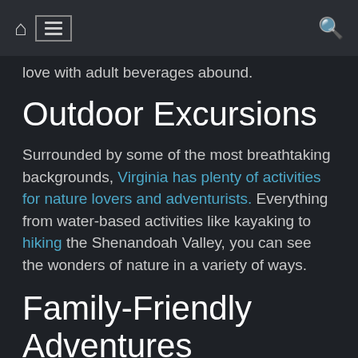Navigation bar with home icon, hamburger menu, and search icon
love with adult beverages abound.
Outdoor Excursions
Surrounded by some of the most breathtaking backgrounds, Virginia has plenty of activities for nature lovers and adventurists. Everything from water-based activities like kayaking to hiking the Shenandoah Valley, you can see the wonders of nature in a variety of ways.
Family-Friendly Adventures
If you are carting around kiddos, there are plenty of